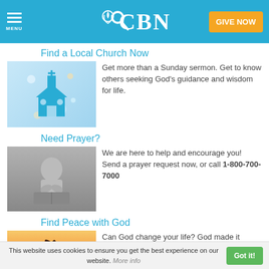CBN — GIVE NOW
Find a Local Church Now
[Figure (illustration): Church icon on bokeh background — blue flat church building graphic on light blue bokeh background]
Get more than a Sunday sermon. Get to know others seeking God's guidance and wisdom for life.
Need Prayer?
[Figure (photo): Black and white photo of a person praying with hands clasped together over a Bible]
We are here to help and encourage you! Send a prayer request now, or call 1-800-700-7000
Find Peace with God
[Figure (photo): Silhouette of a person with flowing hair against a sunset sky]
Can God change your life? God made it possible for you to know. Discover
This website uses cookies to ensure you get the best experience on our website. More info  Got it!